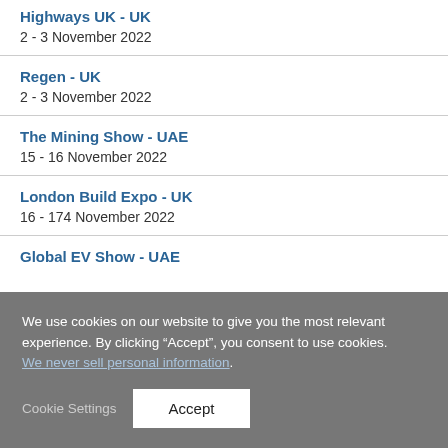Highways UK - UK
2 - 3 November 2022
Regen - UK
2 - 3 November 2022
The Mining Show - UAE
15 - 16 November 2022
London Build Expo - UK
16 - 174 November 2022
Global EV Show - UAE
We use cookies on our website to give you the most relevant experience. By clicking “Accept”, you consent to use cookies. We never sell personal information.
Cookie Settings
Accept